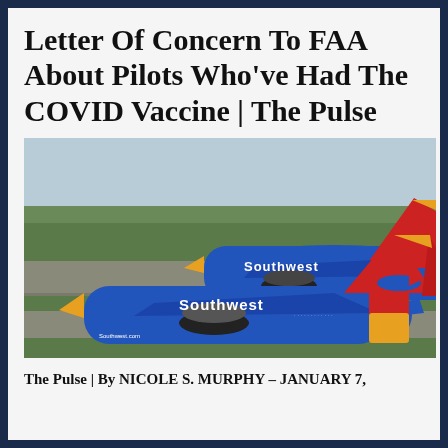Letter Of Concern To FAA About Pilots Who've Had The COVID Vaccine | The Pulse
[Figure (photo): Two Southwest Airlines Boeing 737 aircraft taxiing on an airport tarmac. Both planes are painted in Southwest's blue, red, and yellow livery with the Southwest wordmark on the fuselage. Green grass and airport infrastructure visible in the background.]
The Pulse | By NICOLE S. MURPHY – JANUARY 7,